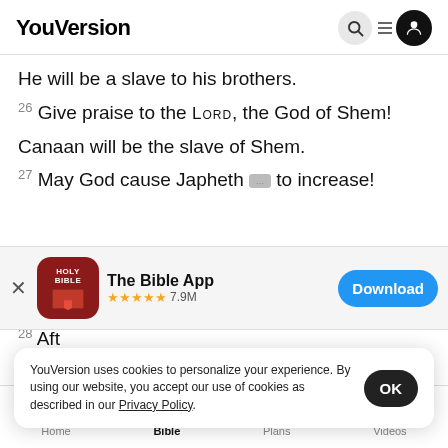YouVersion
He will be a slave to his brothers.
26 Give praise to the LORD, the God of Shem!
Canaan will be the slave of Shem.
27 May God cause Japheth to increase!
[Figure (screenshot): The Bible App promo banner with app icon (Holy Bible), star rating 7.9M, and Download button]
28 Aft
died at
YouVersion uses cookies to personalize your experience. By using our website, you accept our use of cookies as described in our Privacy Policy.
Home | Bible | Plans | Videos